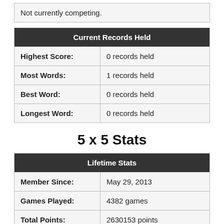Not currently competing.
| Current Records Held |
| --- |
| Highest Score: | 0 records held |
| Most Words: | 1 records held |
| Best Word: | 0 records held |
| Longest Word: | 0 records held |
5 x 5 Stats
| Lifetime Stats |
| --- |
| Member Since: | May 29, 2013 |
| Games Played: | 4382 games |
| Total Points: | 2630153 points |
| Average Score: | 600.22 points |